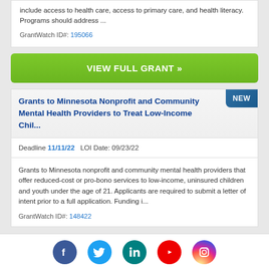include access to health care, access to primary care, and health literacy. Programs should address ...
GrantWatch ID#: 195066
VIEW FULL GRANT »
Grants to Minnesota Nonprofit and Community Mental Health Providers to Treat Low-Income Chil...
Deadline 11/11/22   LOI Date: 09/23/22
Grants to Minnesota nonprofit and community mental health providers that offer reduced-cost or pro-bono services to low-income, uninsured children and youth under the age of 21. Applicants are required to submit a letter of intent prior to a full application. Funding i...
GrantWatch ID#: 148422
[Figure (infographic): Social media icons row: Facebook (blue), Twitter (light blue), LinkedIn (teal), YouTube (red), Instagram (gradient)]